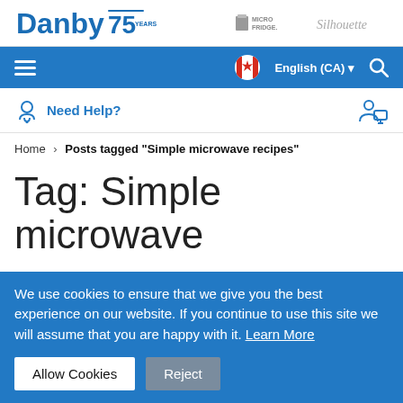[Figure (logo): Danby 75 Years logo in blue, with Micro Fridge and Silhouette logos on the right]
Navigation bar with hamburger menu, Canadian flag English (CA) language selector, and search icon
Need Help?
Home › Posts tagged "Simple microwave recipes"
Tag: Simple microwave
We use cookies to ensure that we give you the best experience on our website. If you continue to use this site we will assume that you are happy with it. Learn More
Allow Cookies  Reject